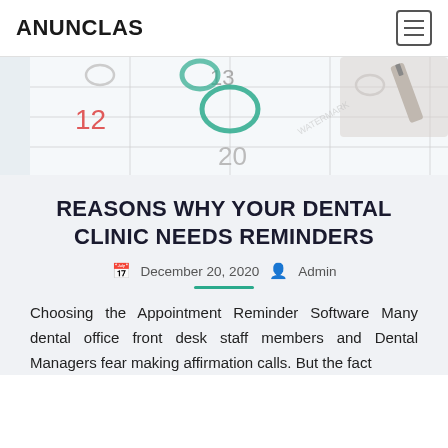ANUNCLAS
[Figure (photo): Close-up photo of a calendar with dates 12, 13, and 20 visible, with a hand holding a pen and teal/green circular markings on the calendar dates.]
REASONS WHY YOUR DENTAL CLINIC NEEDS REMINDERS
December 20, 2020  Admin
Choosing the Appointment Reminder Software Many dental office front desk staff members and Dental Managers fear making affirmation calls. But the fact